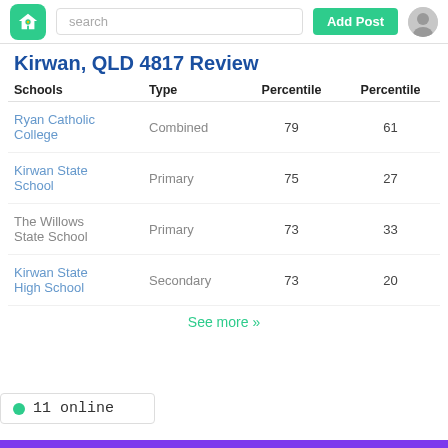search | Add Post
Kirwan, QLD 4817 Review
| Schools | Type | Percentile | Percentile |
| --- | --- | --- | --- |
| Ryan Catholic College | Combined | 79 | 61 |
| Kirwan State School | Primary | 75 | 27 |
| The Willows State School | Primary | 73 | 33 |
| Kirwan State High School | Secondary | 73 | 20 |
See more »
11 online